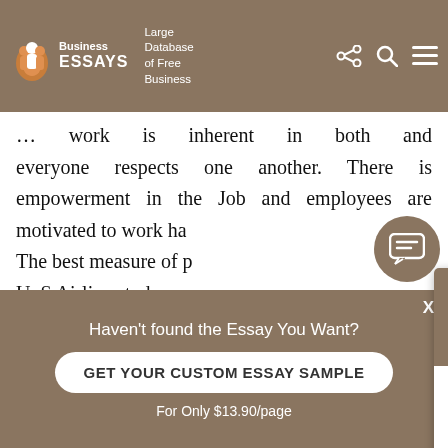Business Essays — Large Database of Free Business
… work is inherent in both and everyone respects one another. There is empowerment in the Job and employees are motivated to work hard… The best measure of… U. S Airlines today… letters written direc… Transportation by con…

Since 1971 when tha… maintained the best… satisfaction of any major U. S airline per 10…
[Figure (screenshot): Chat popup with avatar of Dana saying: Hi! I'm Dana. Would you like to get such a paper? How about receiving a customized one? Check it out]
[Figure (screenshot): Chat bubble icon (message icon) in brown circle]
Haven't found the Essay You Want?
GET YOUR CUSTOM ESSAY SAMPLE
For Only $13.90/page